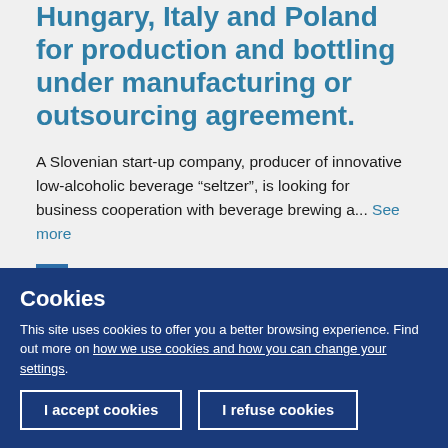Hungary, Italy and Poland for production and bottling under manufacturing or outsourcing agreement.
A Slovenian start-up company, producer of innovative low-alcoholic beverage “seltzer”, is looking for business cooperation with beverage brewing a... See more
SLOVENIA | 10 months ago | expires in 1 month
Cookies
This site uses cookies to offer you a better browsing experience. Find out more on how we use cookies and how you can change your settings.
I accept cookies
I refuse cookies